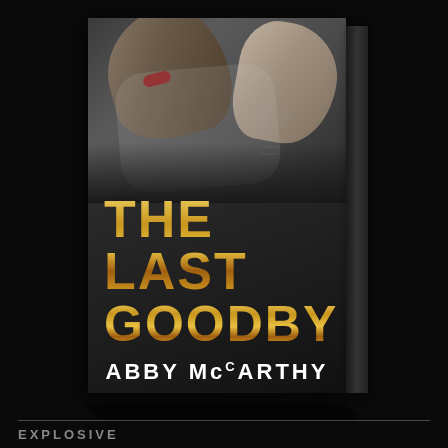[Figure (illustration): 3D rendered book cover for 'The Last Goodbye' by Abby McCarthy. Cover shows two people embracing with gold distressed title text and white author name on a dark background. Book is displayed at an angle showing the cover and spine.]
EXPLOSIVE